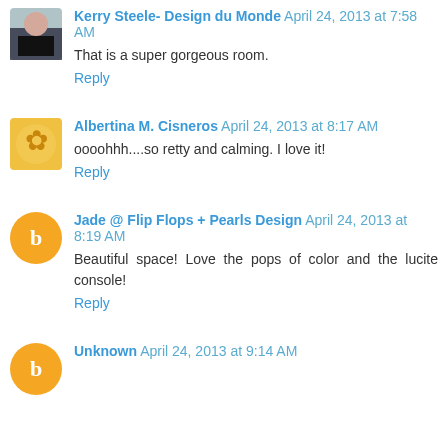Kerry Steele- Design du Monde April 24, 2013 at 7:58 AM
That is a super gorgeous room.
Reply
Albertina M. Cisneros April 24, 2013 at 8:17 AM
oooohhh....so retty and calming. I love it!
Reply
Jade @ Flip Flops + Pearls Design April 24, 2013 at 8:19 AM
Beautiful space! Love the pops of color and the lucite console!
Reply
Unknown April 24, 2013 at 9:14 AM